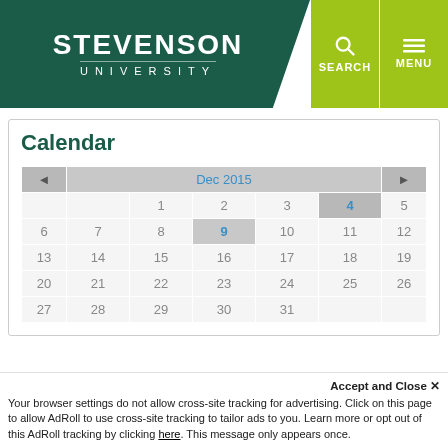[Figure (logo): Stevenson University logo with green background and navigation buttons (SEARCH, MENU)]
Calendar
| ◄ | Dec 2015 |  |  |  |  | ► |
| --- | --- | --- | --- | --- | --- | --- |
|  |  | 1 | 2 | 3 | 4 | 5 |
| 6 | 7 | 8 | 9 | 10 | 11 | 12 |
| 13 | 14 | 15 | 16 | 17 | 18 | 19 |
| 20 | 21 | 22 | 23 | 24 | 25 | 26 |
| 27 | 28 | 29 | 30 | 31 |  |  |
Accept and Close ✕
Your browser settings do not allow cross-site tracking for advertising. Click on this page to allow AdRoll to use cross-site tracking to tailor ads to you. Learn more or opt out of this AdRoll tracking by clicking here. This message only appears once.